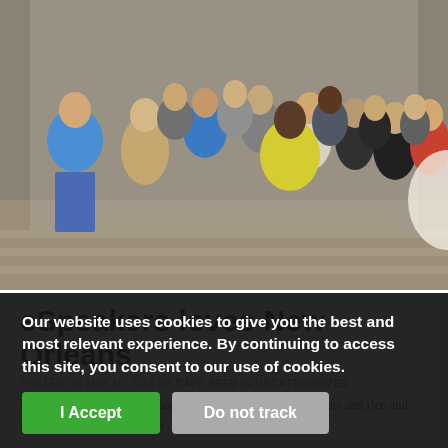[Figure (photo): Group photo of approximately 20 people standing together indoors in a conference room setting. People are dressed in business casual attire in various colors including blue, yellow, red, and neutral tones.]
eSpeakers loves New Orleans
POSTED ON MAY 10, 2015 BY DAVE REED IN UNCATEGORIZED
in the NSA New Orleans chapter. Anytime I can eat red beans and rice and make some new friends is a ... (y)
Our website uses cookies to give you the best and most relevant experience. By continuing to access this site, you consent to our use of cookies.
I Accept
Do not track